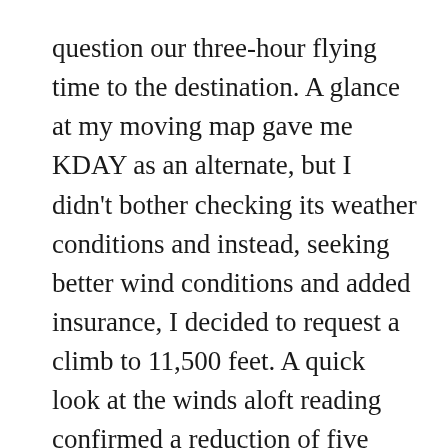question our three-hour flying time to the destination. A glance at my moving map gave me KDAY as an alternate, but I didn't bother checking its weather conditions and instead, seeking better wind conditions and added insurance, I decided to request a climb to 11,500 feet. A quick look at the winds aloft reading confirmed a reduction of five knots and a slightly better wind angle.
We had been aloft for a little over two hours as we approached the York VOR. It was decision-making time. Should I continue to my destination 160 nm away or initiate my diversion to my alternate, 80 nm away. NW